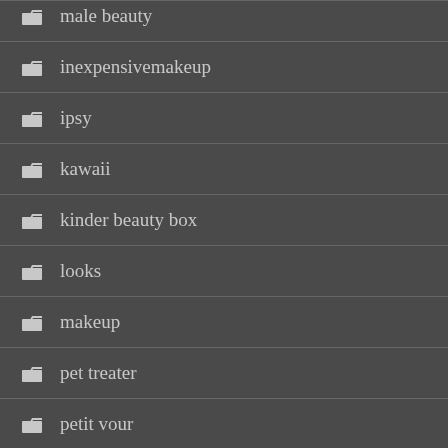male beauty
inexpensivemakeup
ipsy
kawaii
kinder beauty box
looks
makeup
pet treater
petit vour
skin care